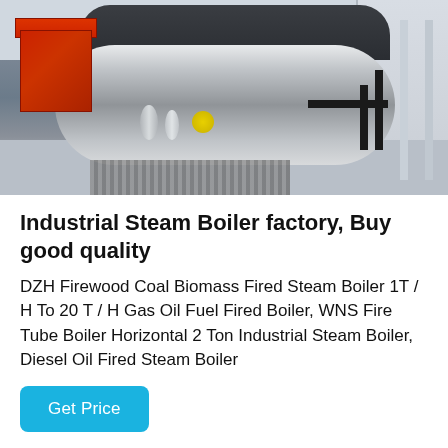[Figure (photo): Industrial steam boiler in a factory/warehouse setting. Large horizontal cylindrical boiler with a red burner box on the left, dark top casing, chrome/silver pipe connections at the bottom, black piping on the right side, and metal scaffolding/frame visible on the right. The floor has a metal grate section.]
Industrial Steam Boiler factory, Buy good quality
DZH Firewood Coal Biomass Fired Steam Boiler 1T / H To 20 T / H Gas Oil Fuel Fired Boiler, WNS Fire Tube Boiler Horizontal 2 Ton Industrial Steam Boiler, Diesel Oil Fired Steam Boiler
Get Price